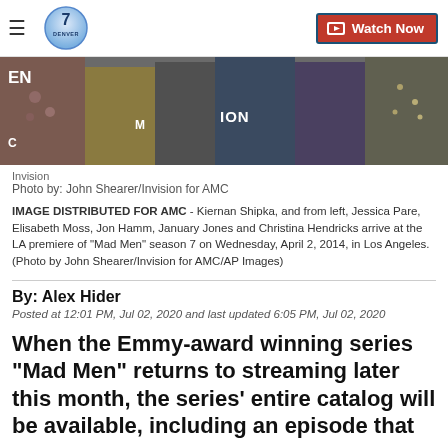Denver7 | Watch Now
[Figure (photo): Cropped photo of cast members at the LA premiere of Mad Men season 7, showing partial figures in formal attire against a backdrop with AMC/Ion branding]
Invision
Photo by: John Shearer/Invision for AMC
IMAGE DISTRIBUTED FOR AMC - Kiernan Shipka, and from left, Jessica Pare, Elisabeth Moss, Jon Hamm, January Jones and Christina Hendricks arrive at the LA premiere of "Mad Men" season 7 on Wednesday, April 2, 2014, in Los Angeles. (Photo by John Shearer/Invision for AMC/AP Images)
By: Alex Hider
Posted at 12:01 PM, Jul 02, 2020 and last updated 6:05 PM, Jul 02, 2020
When the Emmy-award winning series "Mad Men" returns to streaming later this month, the series' entire catalog will be available, including an episode that